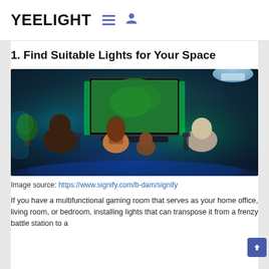YEELIGHT
1. Find Suitable Lights for Your Space
[Figure (photo): Family sitting on a couch from behind, watching a TV in a dark gaming/living room with colorful LED ambient lighting (blue, teal, green) behind the TV and around the room.]
Image source: https://www.signify.com/b-dam/signify
If you have a multifunctional gaming room that serves as your home office, living room, or bedroom, installing lights that can transpose it from a frenzy battle station to a